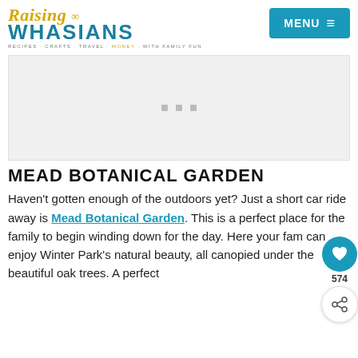Raising Whasians — MENU
[Figure (other): Advertisement placeholder box with three small grey squares centered]
MEAD BOTANICAL GARDEN
Haven't gotten enough of the outdoors yet? Just a short car ride away is Mead Botanical Garden. This is a perfect place for the family to begin winding down for the day. Here your fam can enjoy Winter Park's natural beauty, all canopied under the beautiful oak trees. A perfect